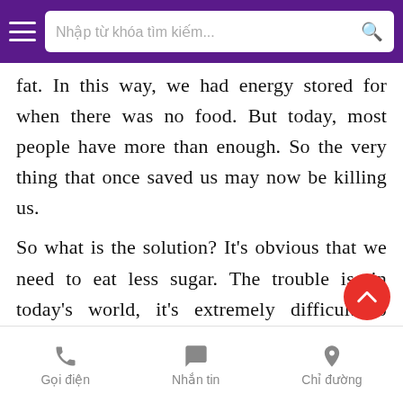Nhập từ khóa tìm kiếm...
fat. In this way, we had energy stored for when there was no food. But today, most people have more than enough. So the very thing that once saved us may now be killing us.
So what is the solution? It's obvious that we need to eat less sugar. The trouble is, in today's world, it's extremely difficult to avoid. From breakfast cereals to after-dinner  desserts, our foods are increasingly filled with it. Some manufacturers even use sug...
Gọi điện   Nhắn tin   Chỉ đường